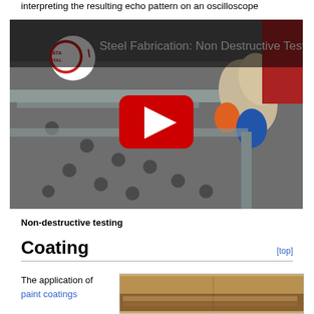interpreting the resulting echo pattern on an oscilloscope
[Figure (screenshot): YouTube video thumbnail showing 'Steel Fabrication: Non Destructive Testing' with a Tata Steel logo, a worker performing NDT on steel with a red YouTube play button overlay.]
Non-destructive testing
Coating
The application of paint coatings